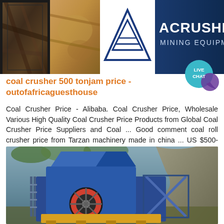[Figure (photo): Header banner collage: mining/rock images on left, triangular logo in center on white background, dark blue ACRUSHER MINING EQUIPMENT sign on right]
[Figure (infographic): Live Chat speech bubble in teal/purple colors with text LIVE CHAT]
coal crusher 500 tonjam price - outofafricaguesthouse
Coal Crusher Price - Alibaba. Coal Crusher Price, Wholesale Various High Quality Coal Crusher Price Products from Global Coal Crusher Price Suppliers and Coal ... Good comment coal roll crusher price from Tarzan machinery made in china ... US $500-3000 / Set. Chat Online World Class Manufacturer of Portable Rock Crushing Equipment
Learn More →
[Figure (photo): Photo of a blue and yellow mobile jaw crusher/rock crushing machine at an outdoor mining site with rock face in background]